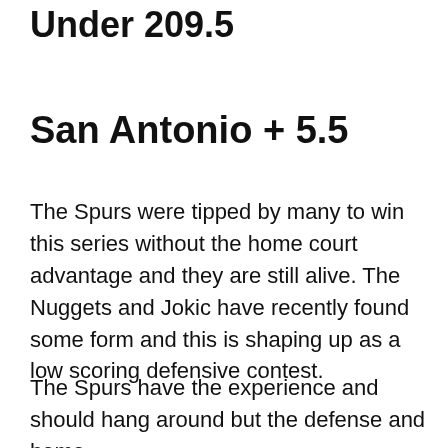Under 209.5
San Antonio + 5.5
The Spurs were tipped by many to win this series without the home court advantage and they are still alive. The Nuggets and Jokic have recently found some form and this is shaping up as a low scoring defensive contest.
The Spurs have the experience and should hang around but the defense and home